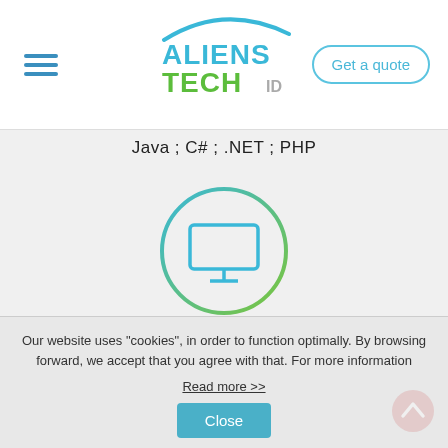[Figure (logo): Aliens Tech ID logo with hamburger menu and Get a quote button in header]
Java ; C# ; .NET ; PHP
[Figure (illustration): Monitor/screen icon inside a circle with gradient green-blue border]
FRONT-END
HTML ; CSS ; JavaScript ; jQuery ; AngularJS
Our website uses "cookies", in order to function optimally. By browsing forward, we accept that you agree with that. For more information
Read more >>
Close